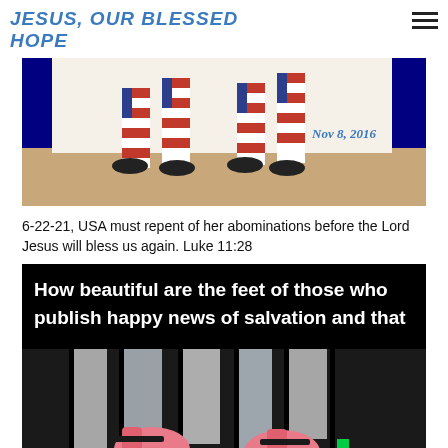JESUS, OUR BLESSED HOPE
[Figure (illustration): Illustration of two figures walking, wearing American flag-patterned pants, with the date 'Nov 8, 2016' in the lower right corner, bordered by a dark navy frame.]
6-22-21, USA must repent of her abominations before the Lord Jesus will bless us again. Luke 11:28
[Figure (illustration): Dark image with white bold text reading 'How beautiful are the feet of those who publish happy news of salvation and that', with a stained-glass style illustration of sandaled feet below on a dark background with green grass.]